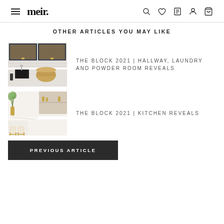meir.
OTHER ARTICLES YOU MAY LIKE
[Figure (photo): Laundry room with dark navy cabinets featuring woven cane fronts, brass handles, white subway tile, black sink, and a woven basket on the counter]
THE BLOCK 2021 | HALLWAY, LAUNDRY AND POWDER ROOM REVEALS
[Figure (photo): Modern kitchen with white marble countertops, open shelving with gold accents, green plant in gold vase, and bar stools with gold legs]
THE BLOCK 2021 | KITCHEN REVEALS
PREVIOUS ARTICLE